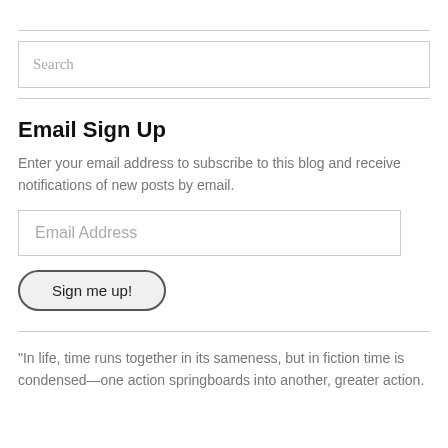[Figure (other): Search input box with placeholder text 'Search']
Email Sign Up
Enter your email address to subscribe to this blog and receive notifications of new posts by email.
[Figure (other): Email address input field with placeholder 'Email Address' and a 'Sign me up!' button]
“In life, time runs together in its sameness, but in fiction time is condensed—one action springboards into another, greater action.